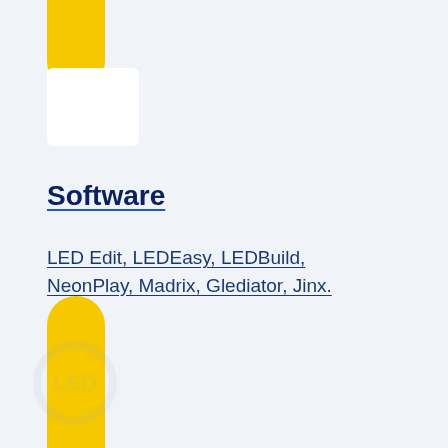[Figure (illustration): Yellow rounded rectangle decorative element at top, partially cropped]
[Figure (illustration): White rounded rectangle box element below yellow top element]
Software
LED Edit, LEDEasy, LEDBuild, NeonPlay, Madrix, Glediator, Jinx.
[Figure (illustration): Yellow rounded rectangle decorative element at bottom left]
[Figure (illustration): Light grey watermark logo at bottom left corner]